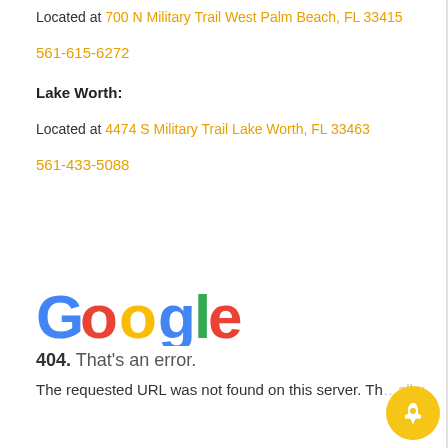Located at 700 N Military Trail West Palm Beach, FL 33415
561-615-6272
Lake Worth:
Located at 4474 S Military Trail Lake Worth, FL 33463
561-433-5088
[Figure (screenshot): Google 404 error page showing the Google logo and the message '404. That's an error. The requested URL was not found on this server.' with a yellow rocket button in the bottom right corner.]